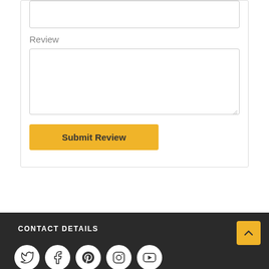Review
[Figure (screenshot): A web form showing a text input box at the top, a Review label, a larger textarea below, and a Submit Review button with yellow background.]
CONTACT DETAILS
[Figure (infographic): Social media icons row: Twitter, Facebook, Pinterest, Instagram, YouTube - all white circles on dark background. A yellow back-to-top button with up arrow on the right.]